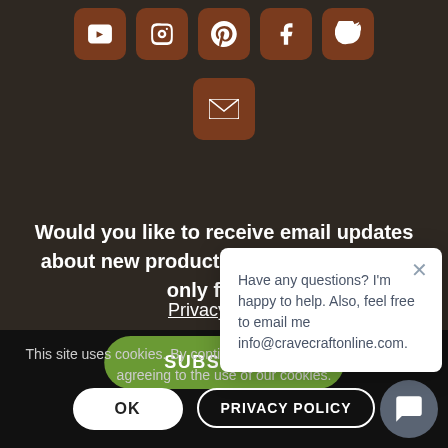[Figure (screenshot): Social media icon buttons (YouTube, Instagram, Pinterest, Facebook, Twitter) in brown rounded square buttons on dark background]
[Figure (screenshot): Email icon button in brown rounded square]
SUBSCRIBE
Would you like to receive email updates about new products, posts, and things only for you
Privacy Policy
This site uses cookies. By continuing to browse the site, you are agreeing to the use of our cookies.
OK
PRIVACY POLICY
Have any questions? I'm happy to help. Also, feel free to email me info@cravecraftonline.com.